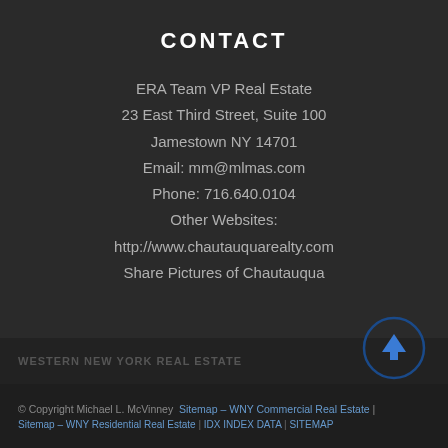CONTACT
ERA Team VP Real Estate
23 East Third Street, Suite 100
Jamestown NY 14701
Email: mm@mlmas.com
Phone: 716.640.0104
Other Websites:
http://www.chautauquarealty.com
Share Pictures of Chautauqua
WESTERN NEW YORK REAL ESTATE
© Copyright Michael L. McVinney  Sitemap – WNY Commercial Real Estate | Sitemap – WNY Residential Real Estate | IDX INDEX DATA | SITEMAP